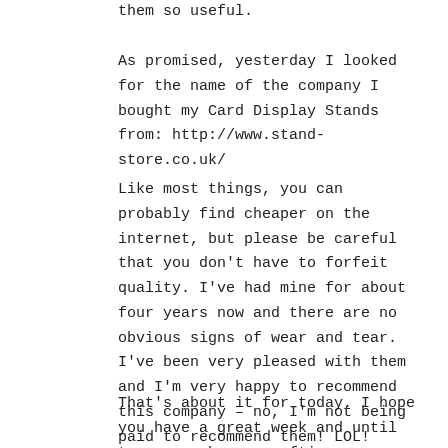them so useful.
As promised, yesterday I looked for the name of the company I bought my Card Display Stands from: http://www.stand-store.co.uk/
Like most things, you can probably find cheaper on the internet, but please be careful that you don't have to forfeit quality. I've had mine for about four years now and there are no obvious signs of wear and tear. I've been very pleased with them and I'm very happy to recommend this company – no, I'm not being paid to recommend them! LOL!
That's about it for today. I hope you have a great week and until tomorrow, happy crafting